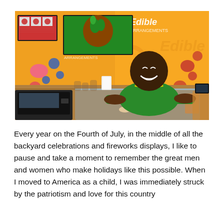[Figure (photo): A smiling man in a green and yellow shirt leaning on a display counter inside an Edible Arrangements store. The background shows orange walls with colorful fruit designs and the Edible Arrangements logo, along with TV screens displaying product menus.]
Every year on the Fourth of July, in the middle of all the backyard celebrations and fireworks displays, I like to pause and take a moment to remember the great men and women who make holidays like this possible. When I moved to America as a child, I was immediately struck by the patriotism and love for this country